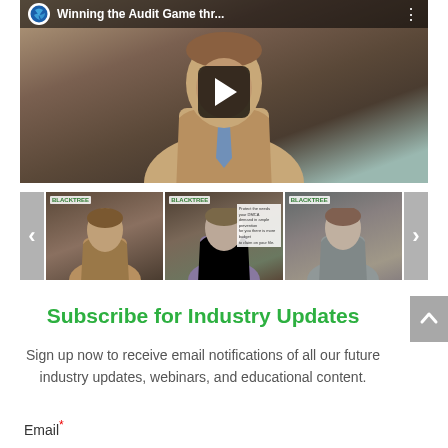[Figure (screenshot): YouTube-style video embed showing a man in a tan suit with a play button overlay. Title bar reads 'Winning the Audit Game thr...' with a logo circle on the left and three-dot menu on the right.]
[Figure (screenshot): Carousel of three video thumbnails with previous/next navigation arrows. Each thumbnail shows a man speaking with a BLACKTREE logo in the upper left corner.]
Subscribe for Industry Updates
Sign up now to receive email notifications of all our future industry updates, webinars, and educational content.
Email*